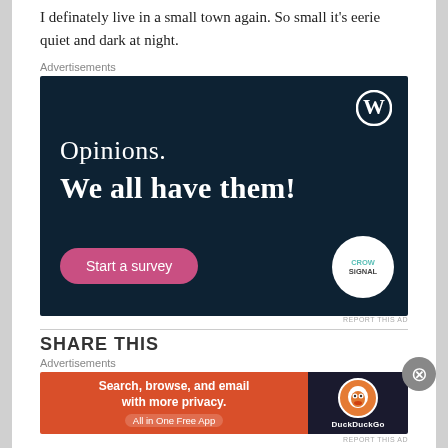I definately live in a small town again. So small it's eerie quiet and dark at night.
Advertisements
[Figure (screenshot): WordPress CrowdSignal advertisement with dark navy background. Text reads 'Opinions. We all have them!' with a 'Start a survey' pink button and CrowdSignal logo circle in the bottom right. WordPress logo top right.]
REPORT THIS AD
Advertisements
[Figure (screenshot): DuckDuckGo advertisement: orange left panel reading 'Search, browse, and email with more privacy. All in One Free App' and dark right panel with DuckDuckGo duck logo and label.]